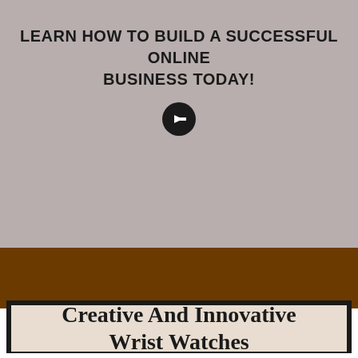LEARN HOW TO BUILD A SUCCESSFUL ONLINE BUSINESS TODAY!
[Figure (illustration): Black circle with white right-pointing arrow icon]
Creative And Innovative Wrist Watches